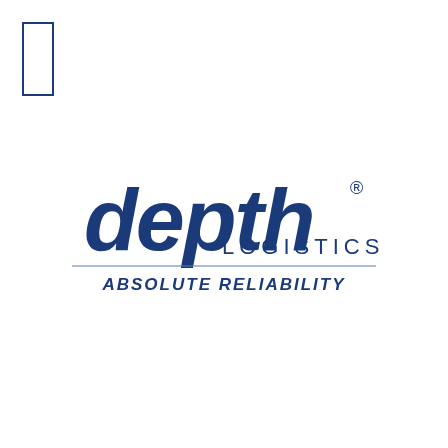[Figure (logo): Depth Logistics logo with italic bold blue 'depth' wordmark, 'LOGISTICS' in spaced caps beside it, a registered trademark symbol, a horizontal dividing line, and the tagline 'ABSOLUTE RELIABILITY' in bold italic blue caps below]